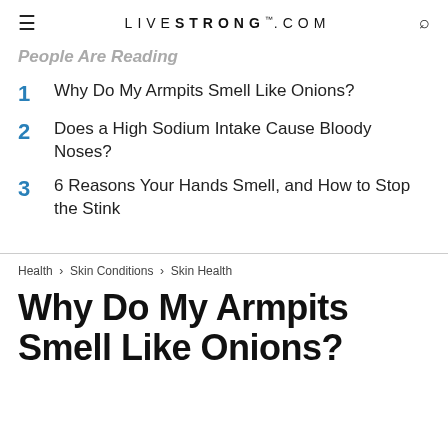LIVESTRONG.COM
People Are Reading
1  Why Do My Armpits Smell Like Onions?
2  Does a High Sodium Intake Cause Bloody Noses?
3  6 Reasons Your Hands Smell, and How to Stop the Stink
Health › Skin Conditions › Skin Health
Why Do My Armpits Smell Like Onions?